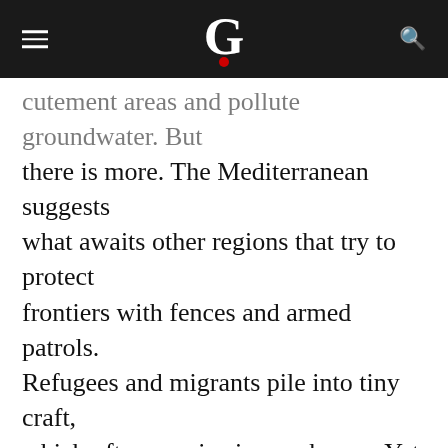G
cutement areas and pollute groundwater. But there is more. The Mediterranean suggests what awaits other regions that try to protect frontiers with fences and armed patrols. Refugees and migrants pile into tiny craft, which often capsize in rough seas. Yet with nothing left to lose, they keep on coming over the horizon.
Global Geneva contributing editor Mort Rosenblum is a renowned American journalist, editor and author currently based in France and Tucson, Arizona. He has travelled and reported the world more years than he can remember. His regular